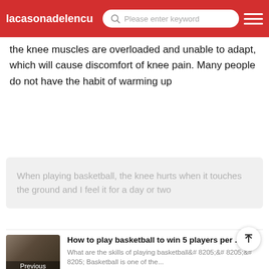lacasonadelencu | Please enter keyword
the knee muscles are overloaded and unable to adapt, which will cause discomfort of knee pain. Many people do not have the habit of warming up
When playing basketball, the knee hurts when it touches the ground and I feel it for a day or two
[Figure (photo): Basketball players photo thumbnail labeled Previous]
How to play basketball to win 5 players per ... What are the skills of playing basketball&# 8205;&# 8205;&# 8205; Basketball is one of the...
[Figure (photo): Basketball court photo thumbnail labeled Next]
What to do if the running speed is slow in b... How can we improve the speed of playing basketball[2] Speed up the practice of landing spe...